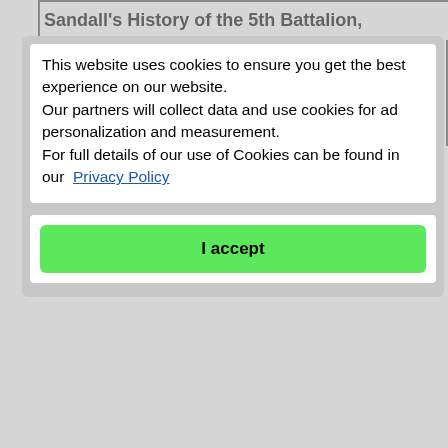Sandall's History of the 5th Battalion,
This website uses cookies to ensure you get the best experience on our website.
Our partners will collect data and use cookies for ad personalization and measurement.
For full details of our use of Cookies can be found in our Privacy Policy
I accept